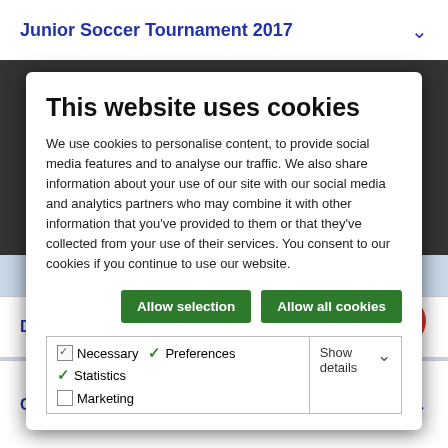Junior Soccer Tournament 2017
This website uses cookies
We use cookies to personalise content, to provide social media features and to analyse our traffic. We also share information about your use of our site with our social media and analytics partners who may combine it with other information that you've provided to them or that they've collected from your use of their services. You consent to our cookies if you continue to use our website.
Allow selection | Allow all cookies
| Necessary | Preferences | Statistics | Show details |
| Marketing |  |  |  |
Dragon Boat Race
Christmas Party for town's Seniors.